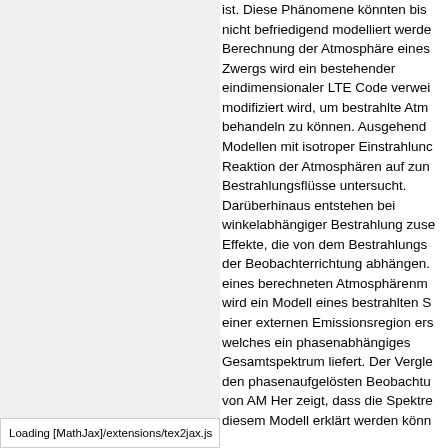ist. Diese Phänomene könnten bis nicht befriedigend modelliert werde Berechnung der Atmosphäre eines Zwergs wird ein bestehender eindimensionaler LTE Code verwei modifiziert wird, um bestrahlte Atm behandeln zu können. Ausgehend Modellen mit isotroper Einstrahlunc Reaktion der Atmosphären auf zun Bestrahlungsflüsse untersucht. Darüberhinaus entstehen bei winkelabhängiger Bestrahlung zuse Effekte, die von dem Bestrahlungs der Beobachterrichtung abhängen. eines berechneten Atmosphärenm wird ein Modell eines bestrahlten S einer externen Emissionsregion ers welches ein phasenabhängiges Gesamtspektrum liefert. Der Vergle den phasenaufgelösten Beobachtu von AM Her zeigt, dass die Spektre diesem Modell erklärt werden könn
Loading [MathJax]/extensions/tex2jax.js